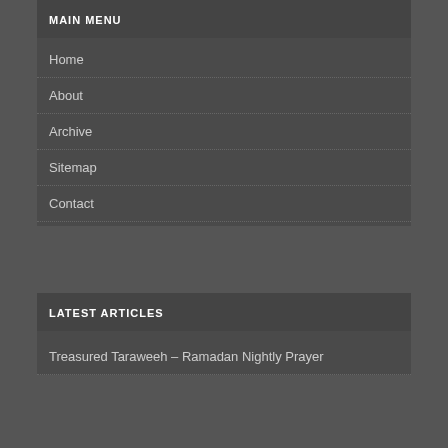MAIN MENU
Home
About
Archive
Sitemap
Contact
LATEST ARTICLES
Treasured Taraweeh – Ramadan Nightly Prayer